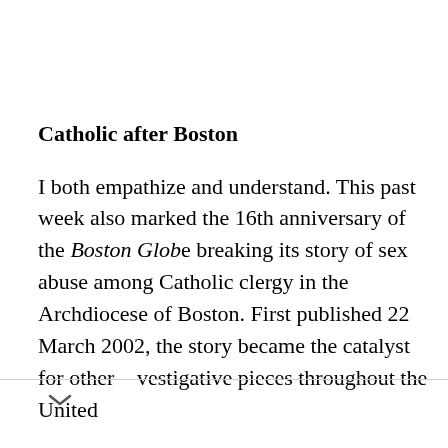Catholic after Boston
I both empathize and understand. This past week also marked the 16th anniversary of the Boston Globe breaking its story of sex abuse among Catholic clergy in the Archdiocese of Boston. First published 22 March 2002, the story became the catalyst for other investigative pieces throughout the United